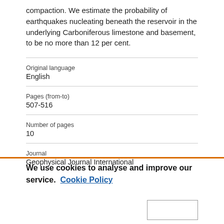compaction. We estimate the probability of earthquakes nucleating beneath the reservoir in the underlying Carboniferous limestone and basement, to be no more than 12 per cent.
| Original language | English |
| Pages (from-to) | 507-516 |
| Number of pages | 10 |
| Journal | Geophysical Journal International |
We use cookies to analyse and improve our service. Cookie Policy